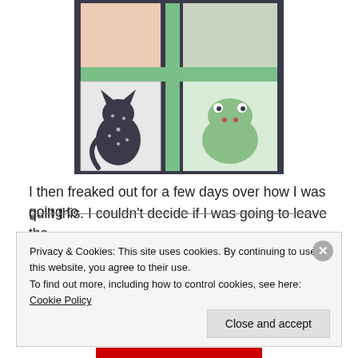[Figure (photo): A quilt with appliquéd animal blocks — a polka-dot cat on the left, a green frog on the right, floral blocks at the top, connected by green polka-dot sashing strips against a dark navy dot fabric border.]
I then freaked out for a few days over how I was going to quilt this. I couldn't decide if I was going to leave the
Privacy & Cookies: This site uses cookies. By continuing to use this website, you agree to their use.
To find out more, including how to control cookies, see here: Cookie Policy
Close and accept